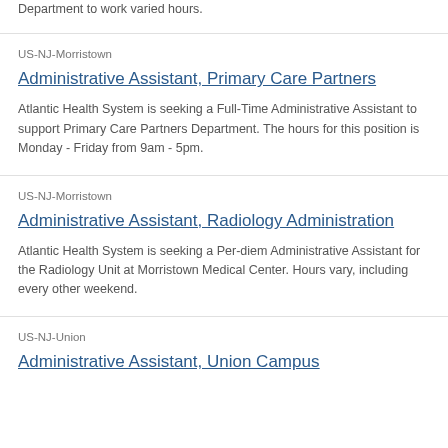Department to work varied hours.
US-NJ-Morristown
Administrative Assistant, Primary Care Partners
Atlantic Health System is seeking a Full-Time Administrative Assistant to support Primary Care Partners Department. The hours for this position is Monday - Friday from 9am - 5pm.
US-NJ-Morristown
Administrative Assistant, Radiology Administration
Atlantic Health System is seeking a Per-diem Administrative Assistant for the Radiology Unit at Morristown Medical Center. Hours vary, including every other weekend.
US-NJ-Union
Administrative Assistant, Union Campus